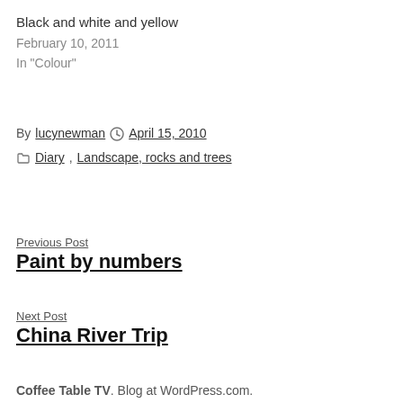Black and white and yellow
February 10, 2011
In "Colour"
By lucynewman  April 15, 2010
Diary, Landscape, rocks and trees
Previous Post
Paint by numbers
Next Post
China River Trip
Coffee Table TV. Blog at WordPress.com.